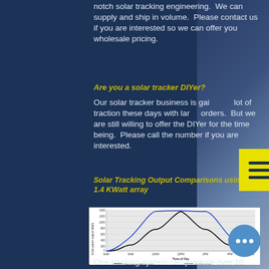notch solar tracking engineering. We can supply and ship in volume. Please contact us if you are interested so we can offer you wholesale pricing.
Are you a solar tracker DIYer?
Our solar tracker business is gaining a lot of traction these days with large orders. But we are still willing to offer the DIYer for the time being. Please call the number if you are interested.
Solar Tracking Output Comparisons using a 1.4 KWatt array
[Figure (line-chart): Solar Tracking Output Comparisons using a 1.4 KWatt array]
— Stationary installation output     — Tracking output
One tracking system can produce over 10